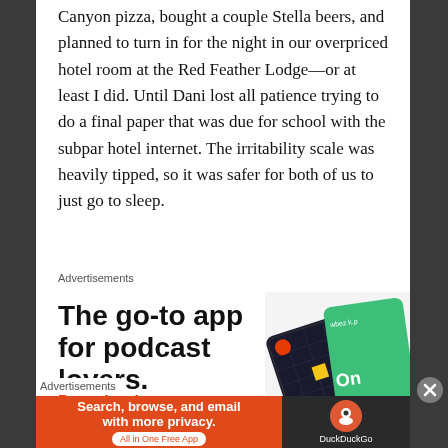Canyon pizza, bought a couple Stella beers, and planned to turn in for the night in our overpriced hotel room at the Red Feather Lodge—or at least I did. Until Dani lost all patience trying to do a final paper that was due for school with the subpar hotel internet. The irritability scale was heavily tipped, so it was safer for both of us to just go to sleep.
Advertisements
[Figure (infographic): Advertisement for a podcast app. Large bold text reads 'The go-to app for podcast lovers.' with 'Download now' in orange-red. Decorative image of app devices on the right.]
Advertisements
[Figure (infographic): DuckDuckGo advertisement banner. Orange section: 'Search, browse, and email with more privacy.' with 'All in One Free App' button. Dark section with DuckDuckGo logo.]